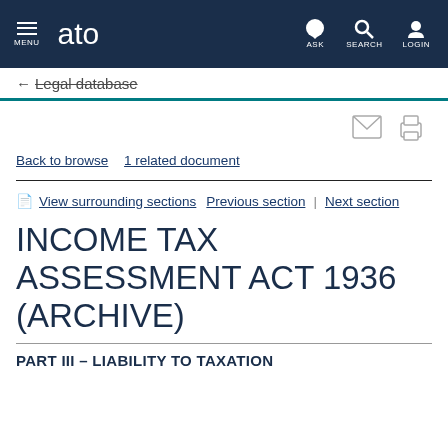ato MENU ASK SEARCH LOGIN
← Legal database
Back to browse   1 related document
View surrounding sections   Previous section | Next section
INCOME TAX ASSESSMENT ACT 1936 (ARCHIVE)
PART III - LIABILITY TO TAXATION